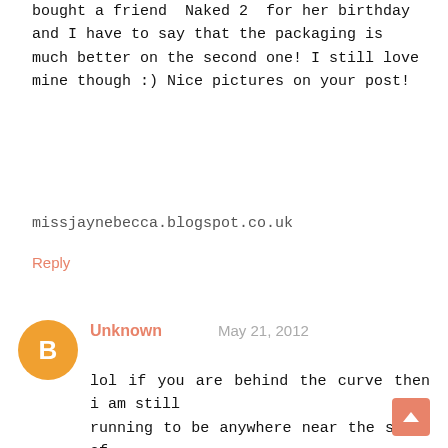bought a friend Naked 2 for her birthday and I have to say that the packaging is much better on the second one! I still love mine though :) Nice pictures on your post!
missjaynebecca.blogspot.co.uk
Reply
Unknown May 21, 2012
lol if you are behind the curve then i am still running to be anywhere near the start of the curve. i do not own either palatte, although i really wish that i did. i actually am a bit more into the colors and design of the naked 2 palatte but i would be happy to have either!

xx rae

pop by if you have a moment, and follow if you like, hope to see you :)